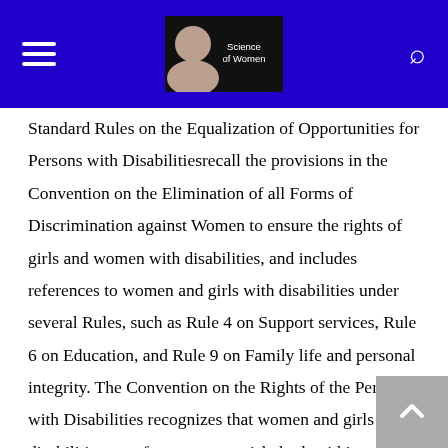Science of Women
Standard Rules on the Equalization of Opportunities for Persons with Disabilitiesrecall the provisions in the Convention on the Elimination of all Forms of Discrimination against Women to ensure the rights of girls and women with disabilities, and includes references to women and girls with disabilities under several Rules, such as Rule 4 on Support services, Rule 6 on Education, and Rule 9 on Family life and personal integrity. The Convention on the Rights of the Persons with Disabilities recognizes that women and girls with disabilities are often at greater risk, both within and outside the home, of violence, injury or abuse, neglect or negligent treatment, maltreatment or exploitation see footnote 6. To address this concern, the Convention on the Rights of the Persons with Disabilities has also taken a two